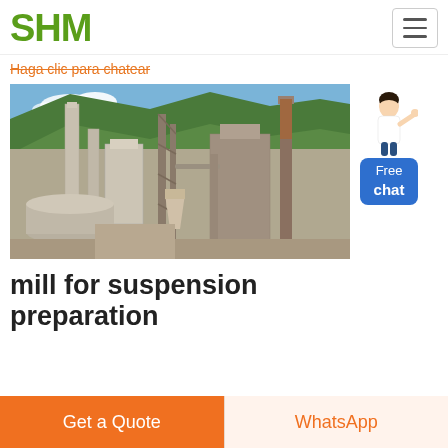SHM
Haga clic para chatear
[Figure (photo): Aerial view of an industrial cement or mining plant with tall chimneys, metal framework structures, silos, and heavy machinery set against a forested hillside and blue sky.]
mill for suspension preparation
Get a Quote
WhatsApp